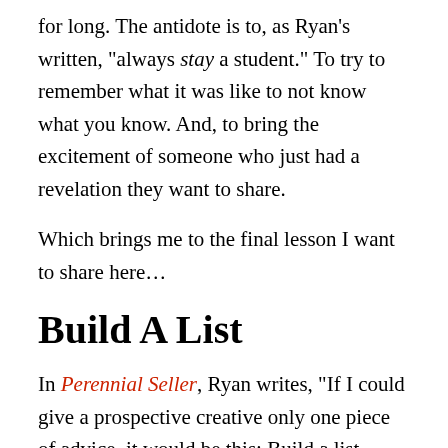for long. The antidote is to, as Ryan's written, “always stay a student.” To try to remember what it was like to not know what you know. And, to bring the excitement of someone who just had a revelation they want to share.
Which brings me to the final lesson I want to share here…
Build A List
In Perennial Seller, Ryan writes, “If I could give a prospective creative only one piece of advice, it would be this: Build a list. Specifically, an email list.” So I’m starting to build an email list. If you subscribe in the box